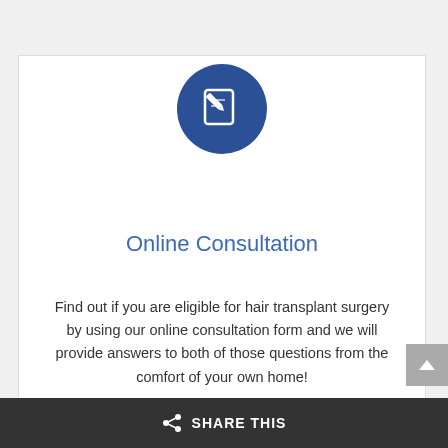[Figure (illustration): Dark blue circle icon with a pencil/edit document icon in white]
Online Consultation
Find out if you are eligible for hair transplant surgery by using our online consultation form and we will provide answers to both of those questions from the comfort of your own home!
[Figure (other): Get Started button with arrow, rounded pill shape with gray border]
SHARE THIS